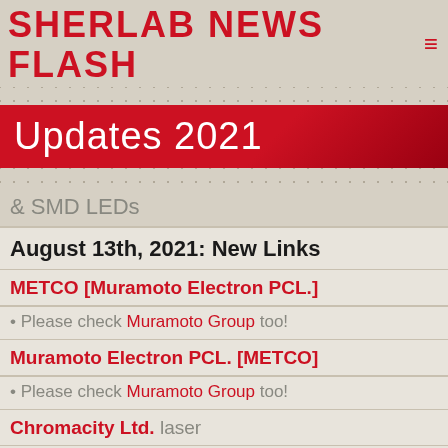Sherlab News Flash
Updates 2021
& SMD LEDs
August 13th, 2021: New Links
METCO [Muramoto Electron PCL.]
• Please check Muramoto Group too!
Muramoto Electron PCL. [METCO]
• Please check Muramoto Group too!
Chromacity Ltd. laser
Forefront RF Ltd. RF...